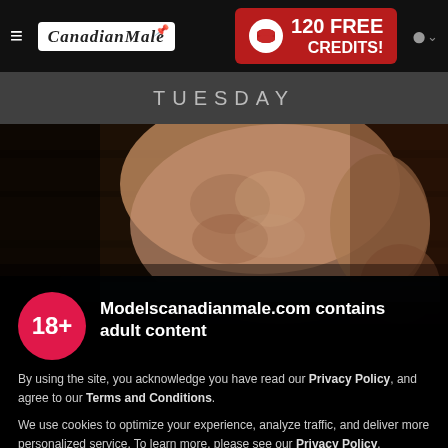CanadianMale | 120 FREE CREDITS!
TUESDAY
[Figure (photo): Partial torso of a male model, cropped, dimly lit, wearing dark underwear with blue waistband against a wooden background]
Modelscanadianmale.com contains adult content
By using the site, you acknowledge you have read our Privacy Policy, and agree to our Terms and Conditions.
We use cookies to optimize your experience, analyze traffic, and deliver more personalized service. To learn more, please see our Privacy Policy.
I AGREE